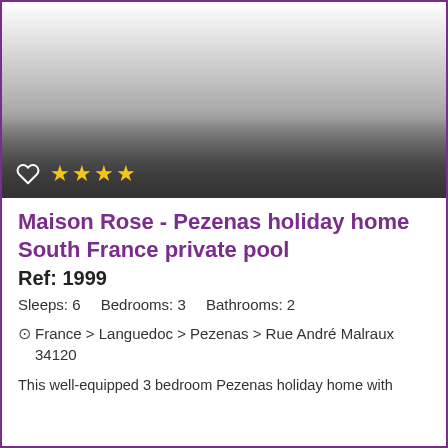[Figure (photo): Holiday home property photo placeholder — gradient from white to dark grey, with heart icon and 4 yellow stars in the bottom-left corner over the image]
Maison Rose - Pezenas holiday home South France private pool
Ref: 1999
Sleeps: 6   Bedrooms: 3   Bathrooms: 2
France › Languedoc › Pezenas › Rue André Malraux 34120
This well-equipped 3 bedroom Pezenas holiday home with